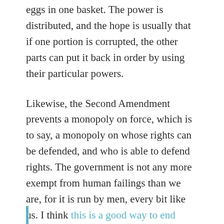eggs in one basket. The power is distributed, and the hope is usually that if one portion is corrupted, the other parts can put it back in order by using their particular powers.
Likewise, the Second Amendment prevents a monopoly on force, which is to say, a monopoly on whose rights can be defended, and who is able to defend rights. The government is not any more exempt from human failings than we are, for it is run by men, every bit like us. I think this is a good way to end today’s post: